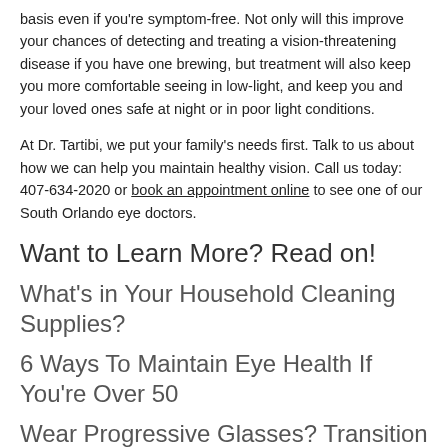basis even if you're symptom-free. Not only will this improve your chances of detecting and treating a vision-threatening disease if you have one brewing, but treatment will also keep you more comfortable seeing in low-light, and keep you and your loved ones safe at night or in poor light conditions.
At Dr. Tartibi, we put your family's needs first. Talk to us about how we can help you maintain healthy vision. Call us today: 407-634-2020 or book an appointment online to see one of our South Orlando eye doctors.
Want to Learn More? Read on!
What's in Your Household Cleaning Supplies?
6 Ways To Maintain Eye Health If You're Over 50
Wear Progressive Glasses? Transition To Multifocal Contact Lenses!